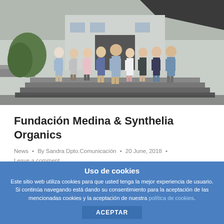[Figure (photo): Group photo of approximately 9 people standing in front of a modern building entrance with stairs and greenery. The group appears to be staff or researchers.]
Fundación Medina & Synthelia Organics
News • By Sandra Dpto.Comunicación • 20 June, 2018 •
Leave a comment
Following with our compromise of improving and
Uso de cookies
Este sitio web utiliza cookies para que usted tenga la mejor experiencia de usuario. Si continúa navegando está dando su consentimiento para la aceptación de las mencionadas cookies y la aceptación de nuestra política de cookies.
ACEPTAR